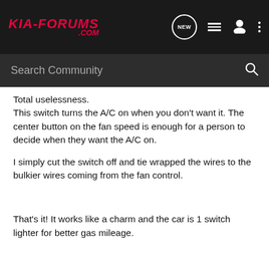KIA-FORUMS.COM
Search Community
Total uselessness.
This switch turns the A/C on when you don't want it. The center button on the fan speed is enough for a person to decide when they want the A/C on.
I simply cut the switch off and tie wrapped the wires to the bulkier wires coming from the fan control.
That's it! It works like a charm and the car is 1 switch lighter for better gas mileage.
Happy trails.